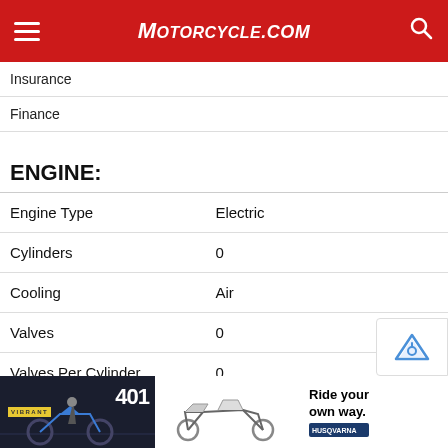MOTORCYCLE.COM
Insurance
Finance
ENGINE:
| Attribute | Value |
| --- | --- |
| Engine Type | Electric |
| Cylinders | 0 |
| Cooling | Air |
| Valves | 0 |
| Valves Per Cylinder | 0 |
| Starter | Electric |
| Fuel Type | Electric |
[Figure (illustration): Advertisement banner for Husqvarna motorcycles showing a motorcycle rider on the left, a Husqvarna motorcycle in the center-right, with text 'Ride your own way.' and Husqvarna logo.]